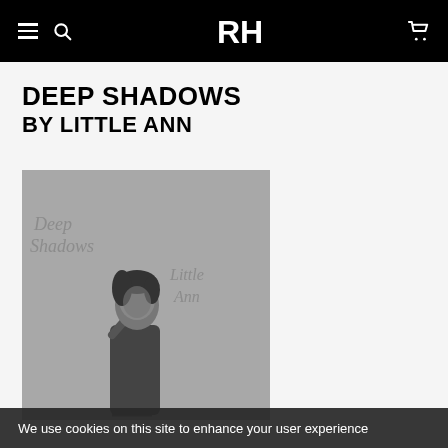Navigation bar with menu, search, logo, and cart icons
DEEP SHADOWS
BY LITTLE ANN
[Figure (photo): Black and white photo of Little Ann singing into a microphone, with 'Deep Shadows' and 'Little Ann' text visible in the background — album cover art]
We use cookies on this site to enhance your user experience